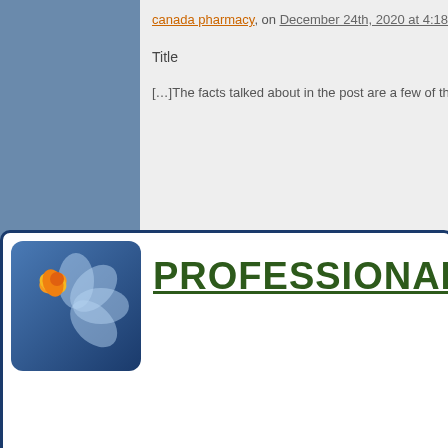canada pharmacy, on December 24th, 2020 at 4:18 a
Title
[...]The facts talked about in the post are a few of the m
[Figure (logo): Professional advice website logo with flower icon in blue rounded square and green text PROFESSIONAL ADVI...]
Upload Your Resume and Get
Daily Job Search Advice | Career Advancement Tips | Informative Articles on Life Lessons And much more...
Email Address
Upload Resume   Choose File   No file chosen